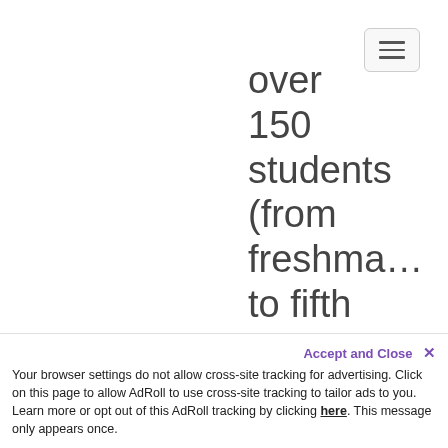[Figure (other): Navigation hamburger menu button in top right corner]
over 150 students (from freshman to fifth year) in their first year of the program. In
Accept and Close ✕
Your browser settings do not allow cross-site tracking for advertising. Click on this page to allow AdRoll to use cross-site tracking to tailor ads to you. Learn more or opt out of this AdRoll tracking by clicking here. This message only appears once.